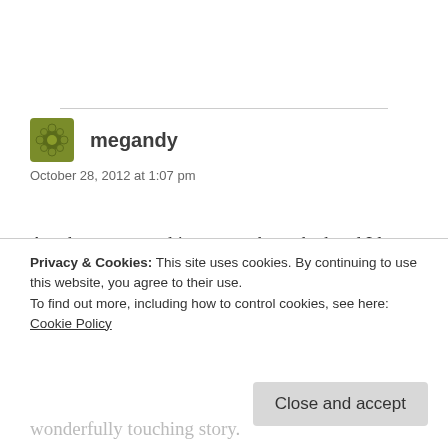[Figure (illustration): Gravatar/avatar icon for user megandy — olive/green floral dot pattern circle]
megandy
October 28, 2012 at 1:07 pm
Another very touching story about the band I love. While these types of actions are not common for most stars/musicians of their caliber, it is not at all uncommon for this band. Their kindness and care
Privacy & Cookies: This site uses cookies. By continuing to use this website, you agree to their use.
To find out more, including how to control cookies, see here: Cookie Policy
Close and accept
wonderfully touching story.